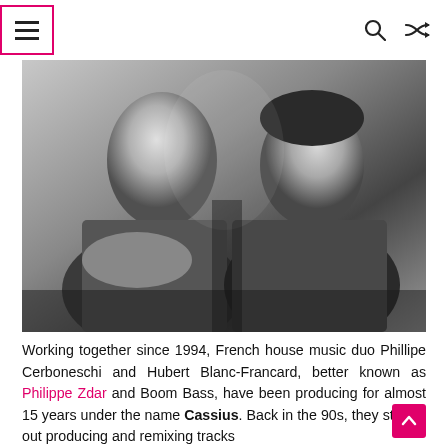Navigation header with hamburger menu, search icon, and shuffle icon
[Figure (photo): Black and white portrait photograph of two men (Phillipe Cerboneschi and Hubert Blanc-Francard, known as Philippe Zdar and Boom Bass) sitting side by side, looking toward the camera]
Working together since 1994, French house music duo Phillipe Cerboneschi and Hubert Blanc-Francard, better known as Philippe Zdar and Boom Bass, have been producing for almost 15 years under the name Cassius. Back in the 90s, they started out producing and remixing tracks